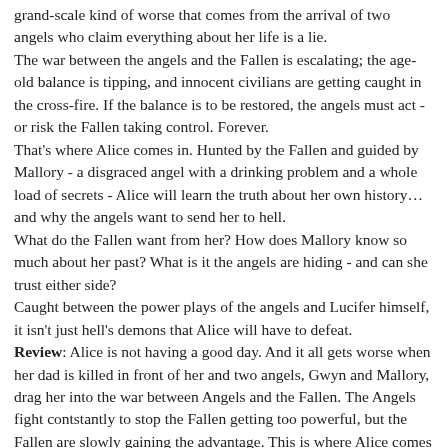grand-scale kind of worse that comes from the arrival of two angels who claim everything about her life is a lie. The war between the angels and the Fallen is escalating; the age-old balance is tipping, and innocent civilians are getting caught in the cross-fire. If the balance is to be restored, the angels must act - or risk the Fallen taking control. Forever. That's where Alice comes in. Hunted by the Fallen and guided by Mallory - a disgraced angel with a drinking problem and a whole load of secrets - Alice will learn the truth about her own history… and why the angels want to send her to hell. What do the Fallen want from her? How does Mallory know so much about her past? What is it the angels are hiding - and can she trust either side? Caught between the power plays of the angels and Lucifer himself, it isn't just hell's demons that Alice will have to defeat. Review: Alice is not having a good day. And it all gets worse when her dad is killed in front of her and two angels, Gwyn and Mallory, drag her into the war between Angels and the Fallen. The Angels fight contstantly to stop the Fallen getting too powerful, but the Fallen are slowly gaining the advantage. This is where Alice comes in. Due to her heritage, she will be very useful in the upcoming war. Therefore, she has to go to hell. I'd seen Lou's stuff around for ages, and seen her nice she is, but